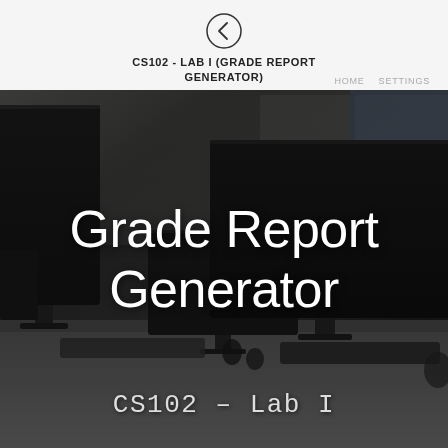CS102 - LAB I (GRADE REPORT GENERATOR)
HOME   SETTINGS
[Figure (photo): Computer lab room with multiple black desktop monitors and keyboards on a desk, dark moody lighting]
Grade Report Generator
CS102 - Lab I